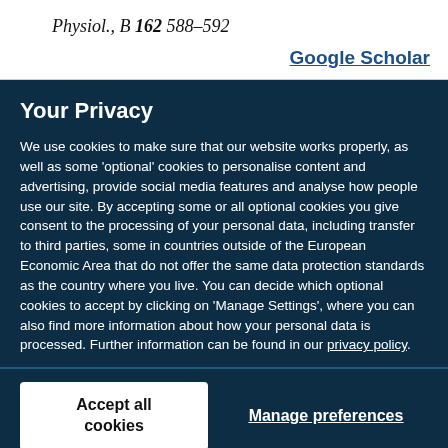Physiol., B 162 588–592
Google Scholar
Your Privacy
We use cookies to make sure that our website works properly, as well as some 'optional' cookies to personalise content and advertising, provide social media features and analyse how people use our site. By accepting some or all optional cookies you give consent to the processing of your personal data, including transfer to third parties, some in countries outside of the European Economic Area that do not offer the same data protection standards as the country where you live. You can decide which optional cookies to accept by clicking on 'Manage Settings', where you can also find more information about how your personal data is processed. Further information can be found in our privacy policy.
Accept all cookies
Manage preferences